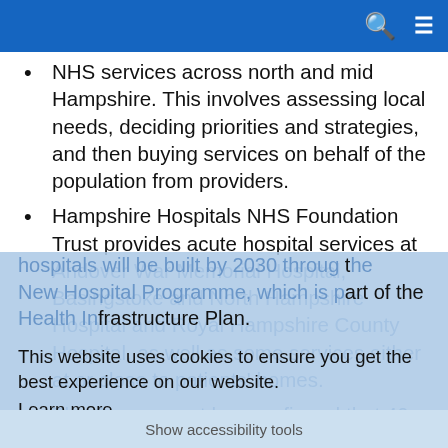NHS services across north and mid Hampshire.
NHS services across north and mid Hampshire. This involves assessing local needs, deciding priorities and strategies, and then buying services on behalf of the population from providers.
Hampshire Hospitals NHS Foundation Trust provides acute hospital services at Andover War Memorial Hospital, Basingstoke and North Hampshire Hospital and Royal Hampshire County Hospital, as well as some services either at or close to patients' homes.
The Government has confirmed that 40 new hospitals will be built by 2030 through the New Hospital Programme, which is part of the Health Infrastructure Plan.
This website uses cookies to ensure you get the best experience on our website.
Learn more
Got it!
Show accessibility tools